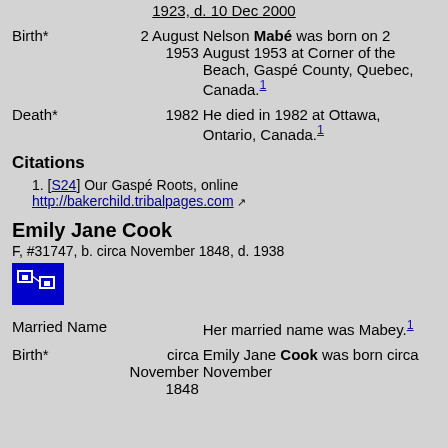1923, d. 10 Dec 2000
| Event | Date | Description |
| --- | --- | --- |
| Birth* | 2 August 1953 | Nelson Mabé was born on 2 August 1953 at Corner of the Beach, Gaspé County, Quebec, Canada.[1] |
| Death* | 1982 | He died in 1982 at Ottawa, Ontario, Canada.[1] |
Citations
1. [S24] Our Gaspé Roots, online http://bakerchild.tribalpages.com
Emily Jane Cook
F, #31747, b. circa November 1848, d. 1938
| Event | Date | Description |
| --- | --- | --- |
| Married Name |  | Her married name was Mabey.[1] |
| Birth* | circa November 1848 | Emily Jane Cook was born circa November 1848 at ... |